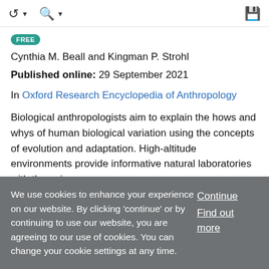FREE
Cynthia M. Beall and Kingman P. Strohl
Published online: 29 September 2021
In Oxford Research Encyclopedia of Anthropology
Biological anthropologists aim to explain the hows and whys of human biological variation using the concepts of evolution and adaptation. High-altitude environments provide informative natural laboratories with the unique
We use cookies to enhance your experience on our website. By clicking 'continue' or by continuing to use our website, you are agreeing to our use of cookies. You can change your cookie settings at any time.